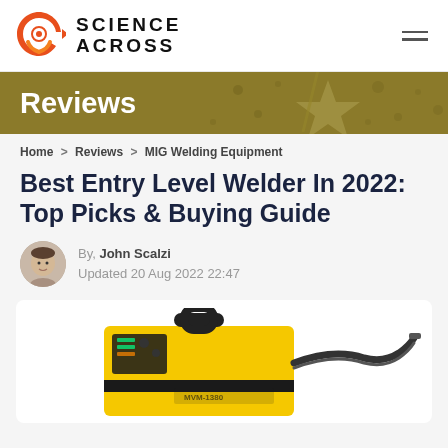SCIENCE ACROSS
Reviews
Home > Reviews > MIG Welding Equipment
Best Entry Level Welder In 2022: Top Picks & Buying Guide
By, John Scalzi
Updated 20 Aug 2022 22:47
[Figure (photo): Yellow MIG welder machine (MVM-1380) with handle and welding cable/torch on white background]